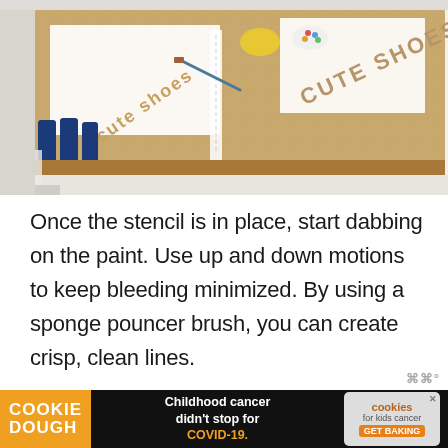[Figure (photo): A cork board on a table with white stencils reading 'CUTE SHOES' partially visible, paint bottles, a brush, and a sponge pouncer. Craft DIY painting project setup.]
Once the stencil is in place, start dabbing on the paint. Use up and down motions to keep bleeding minimized. By using a sponge pouncer brush, you can create crisp, clean lines.
After you have 2 coats of paint done, carefully...
[Figure (other): Advertisement banner: Cookie Dough brand ad with text 'Childhood cancer didn't stop for COVID-19.' and 'cookies for kids cancer GET BAKING' logo. Black background with orange and gray elements.]